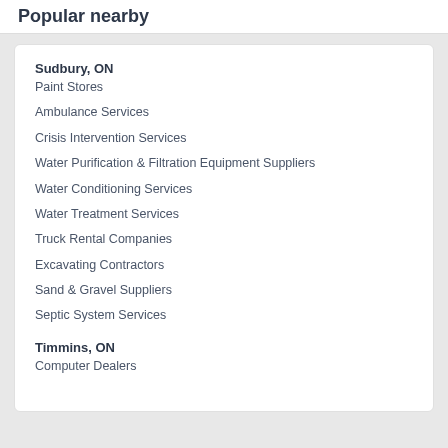Popular nearby
Sudbury, ON
Paint Stores
Ambulance Services
Crisis Intervention Services
Water Purification & Filtration Equipment Suppliers
Water Conditioning Services
Water Treatment Services
Truck Rental Companies
Excavating Contractors
Sand & Gravel Suppliers
Septic System Services
Timmins, ON
Computer Dealers